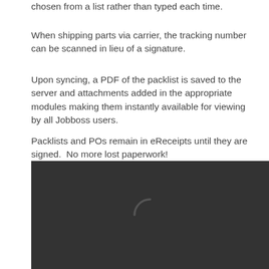chosen from a list rather than typed each time.
When shipping parts via carrier, the tracking number can be scanned in lieu of a signature.
Upon syncing, a PDF of the packlist is saved to the server and attachments added in the appropriate modules making them instantly available for viewing by all Jobboss users.
Packlists and POs remain in eReceipts until they are signed.  No more lost paperwork!
[Figure (screenshot): Dark gray video/media placeholder with a loading spinner arc in the center]